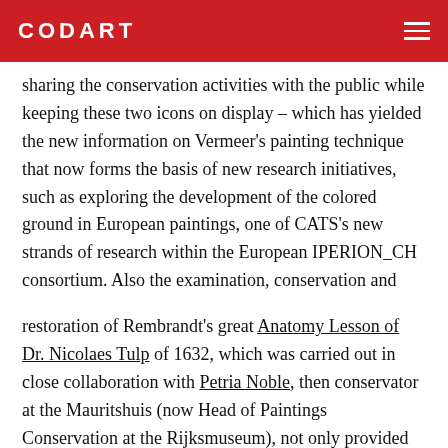CODART
sharing the conservation activities with the public while keeping these two icons on display – which has yielded the new information on Vermeer's painting technique that now forms the basis of new research initiatives, such as exploring the development of the colored ground in European paintings, one of CATS's new strands of research within the European IPERION_CH consortium. Also the examination, conservation and
restoration of Rembrandt's great Anatomy Lesson of Dr. Nicolaes Tulp of 1632, which was carried out in close collaboration with Petria Noble, then conservator at the Mauritshuis (now Head of Paintings Conservation at the Rijksmuseum), not only provided fresh insights into the splendor of the painting and the artist's technique, but also marked the beginning of important – and eventually